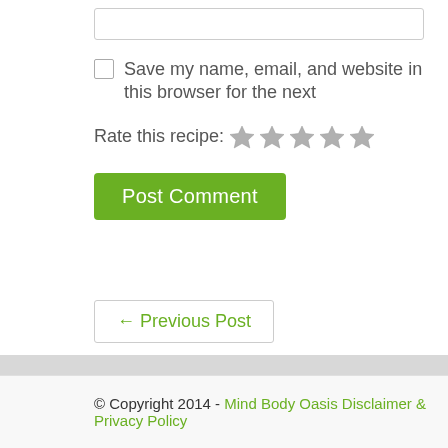Save my name, email, and website in this browser for the next
Rate this recipe: ★★★★★
Post Comment
← Previous Post
© Copyright 2014 - Mind Body Oasis Disclaimer & Privacy Policy